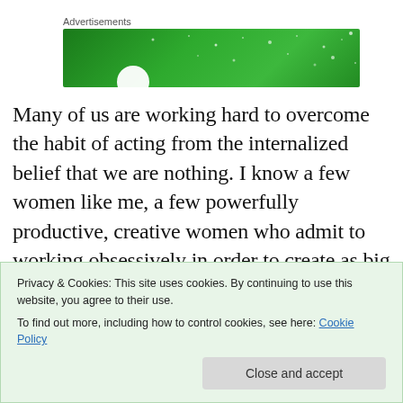Advertisements
[Figure (other): Green advertisement banner with white dots/stars pattern and a white circle at the bottom left]
Many of us are working hard to overcome the habit of acting from the internalized belief that we are nothing. I know a few women like me, a few powerfully productive, creative women who admit to working obsessively in order to create as big as they can, very often in attempt to hide the nothingness they quietly believe they are. This is not motivations, or inspirations coming?"
Privacy & Cookies: This site uses cookies. By continuing to use this website, you agree to their use.
To find out more, including how to control cookies, see here: Cookie Policy